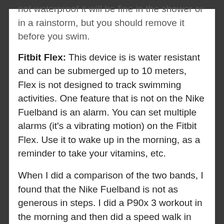not waterproof it will be fine in the shower or in a rainstorm, but you should remove it before you swim.
Fitbit Flex: This device is is water resistant and can be submerged up to 10 meters, Flex is not designed to track swimming activities. One feature that is not on the Nike Fuelband is an alarm. You can set multiple alarms (it’s a vibrating motion) on the Fitbit Flex. Use it to wake up in the morning, as a reminder to take your vitamins, etc.
When I did a comparison of the two bands, I found that the Nike Fuelband is not as generous in steps. I did a P90x 3 workout in the morning and then did a speed walk in the evening. The trackers were only off about 150 steps  for the entire day, until I started the speed walk. When